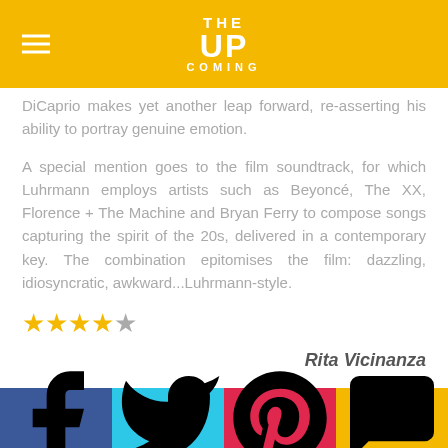THE UPCOMING
DiCaprio makes yet another leap forward, re-asserting his ability to portray genuine emotion.
A special mention goes to the film soundtrack, for which Luhrmann employs artists such as Beyoncé, The XX, Florence + The Machine and Bryan Ferry to compose songs capturing the spirit of the 20s, delivered in a contemporary key. The combination epitomises the film: dazzling, idiosyncratic, awkward...Luhrmann-style.
★★★★☆ (4 out of 5 stars)
Rita Vicinanza
The Great Gatsby is released nationwide on 16th May 2013.
Facebook | Twitter | Pinterest | Comment